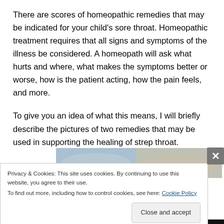There are scores of homeopathic remedies that may be indicated for your child's sore throat. Homeopathic treatment requires that all signs and symptoms of the illness be considered. A homeopath will ask what hurts and where, what makes the symptoms better or worse, how is the patient acting, how the pain feels, and more.
To give you an idea of what this means, I will briefly describe the pictures of two remedies that may be used in supporting the healing of strep throat.
[Figure (photo): Partial photo showing hands, likely a person with a sore throat or being examined]
Privacy & Cookies: This site uses cookies. By continuing to use this website, you agree to their use.
To find out more, including how to control cookies, see here: Cookie Policy